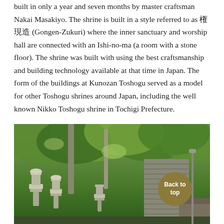built in only a year and seven months by master craftsman Nakai Masakiyo. The shrine is built in a style referred to as 権現造 (Gongen-Zukuri) where the inner sanctuary and worship hall are connected with an Ishi-no-ma (a room with a stone floor). The shrine was built with using the best craftsmanship and building technology available at that time in Japan. The form of the buildings at Kunozan Toshogu served as a model for other Toshogu shrines around Japan, including the well known Nikko Toshogu shrine in Tochigi Prefecture.
[Figure (photo): Photograph of stone lanterns and stone steps leading up through dense green forest at Kunozan Toshogu shrine, with a golden circular 'Back to top' button overlaid in the bottom right corner.]